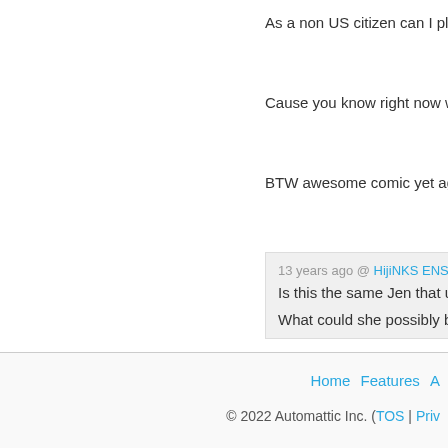As a non US citizen can I please
Cause you know right now we ki
BTW awesome comic yet again.
13 years ago @ HijiNKS ENSUE
Is this the same Jen that urinate
What could she possibly be doin
Home Features | © 2022 Automattic Inc. (TOS | Priv